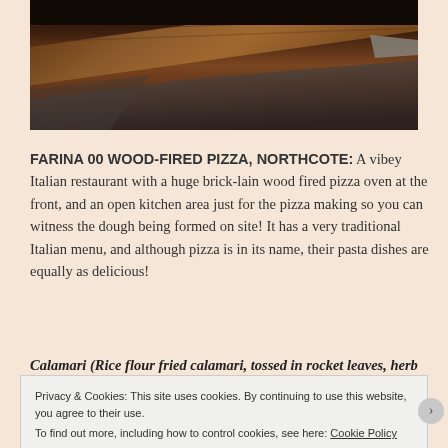[Figure (photo): A wood-fired pizza oven or wooden pizza paddle close-up, dark warm tones with wood and stone textures visible]
FARINA oo WOOD-FIRED PIZZA, NORTHCOTE: A vibey Italian restaurant with a huge brick-lain wood fired pizza oven at the front, and an open kitchen area just for the pizza making so you can witness the dough being formed on site! It has a very traditional Italian menu, and although pizza is in its name, their pasta dishes are equally as delicious!
Calamari (Rice flour fried calamari, tossed in rocket leaves, herb
Privacy & Cookies: This site uses cookies. By continuing to use this website, you agree to their use.
To find out more, including how to control cookies, see here: Cookie Policy
Close and accept